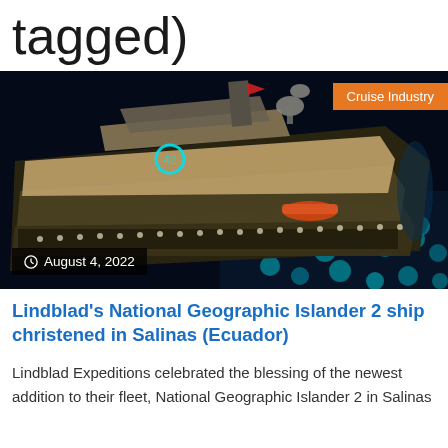tagged)
[Figure (photo): Aerial night view of a cruise ship illuminated with blue lights along the hull, viewed from above at an angle. The ship has multiple decks visible and glowing teal/cyan lights reflecting on the water.]
Cruise Industry
August 4, 2022
Lindblad's National Geographic Islander 2 ship christened in Salinas (Ecuador)
Lindblad Expeditions celebrated the blessing of the newest addition to their fleet, National Geographic Islander 2 in Salinas